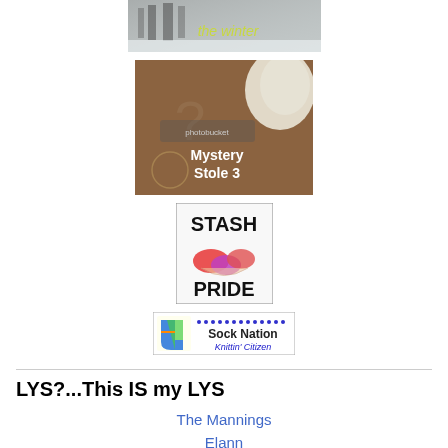[Figure (photo): Winter scene photo with text 'the winter']
[Figure (photo): Mystery Stole 3 knitting image with photobucket watermark]
[Figure (photo): Stash Pride banner with colorful yarn skeins]
[Figure (photo): Sock Nation Knittin' Citizen banner]
LYS?...This IS my LYS
The Mannings
Elann